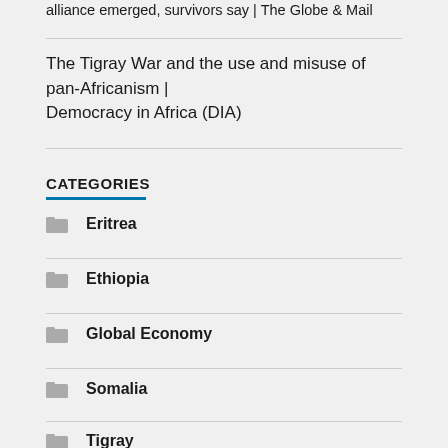alliance emerged, survivors say | The Globe & Mail
The Tigray War and the use and misuse of pan-Africanism | Democracy in Africa (DIA)
CATEGORIES
Eritrea
Ethiopia
Global Economy
Somalia
Tigray